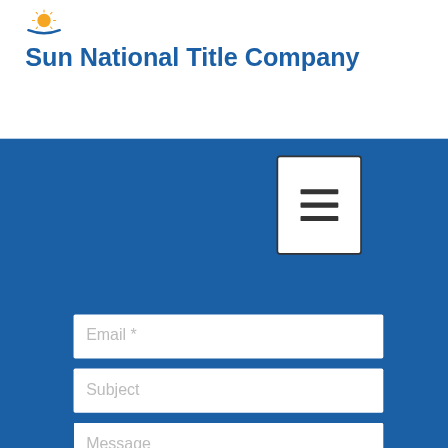[Figure (logo): Sun National Title Company logo with sun icon and blue arc, company name in blue bold text]
[Figure (screenshot): Website contact form with Email, Subject, Message fields on blue background, hamburger menu button, and SEND button in teal]
Email *
Subject
Message
SEND